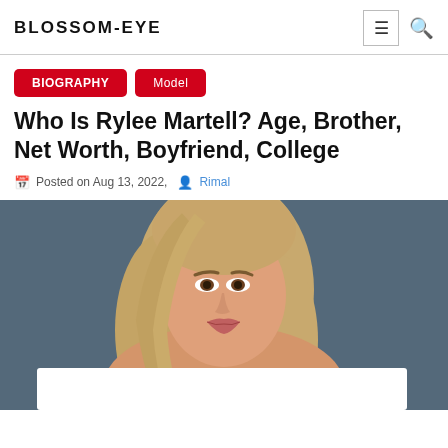BLOSSOM-EYE
BIOGRAPHY  Model
Who Is Rylee Martell? Age, Brother, Net Worth, Boyfriend, College
Posted on Aug 13, 2022,  Rimal
[Figure (photo): Photo of Rylee Martell, a blonde woman with long hair, wearing a pink/coral spaghetti strap top, posed against a blue-grey background]